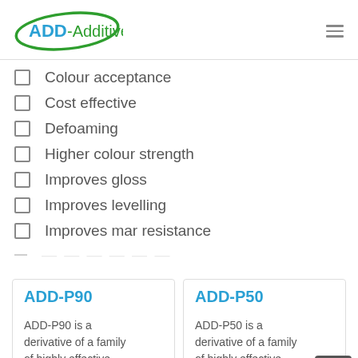[Figure (logo): ADD-Additives logo with green oval and blue text]
Colour acceptance
Cost effective
Defoaming
Higher colour strength
Improves gloss
Improves levelling
Improves mar resistance
ADD-P90
ADD-P90 is a derivative of a family of highly effective, low viscosity
ADD-P50
ADD-P50 is a derivative of a family of highly effective, low viscosity